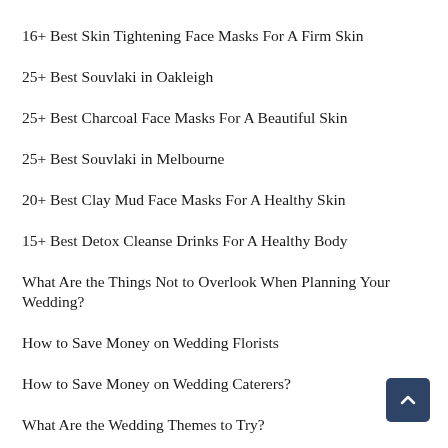16+ Best Skin Tightening Face Masks For A Firm Skin
25+ Best Souvlaki in Oakleigh
25+ Best Charcoal Face Masks For A Beautiful Skin
25+ Best Souvlaki in Melbourne
20+ Best Clay Mud Face Masks For A Healthy Skin
15+ Best Detox Cleanse Drinks For A Healthy Body
What Are the Things Not to Overlook When Planning Your Wedding?
How to Save Money on Wedding Florists
How to Save Money on Wedding Caterers?
What Are the Wedding Themes to Try?
How to Choose a Perfect Theme for Your Wedding?
What Are the Tips on Choosing Your Wedding Vendors?